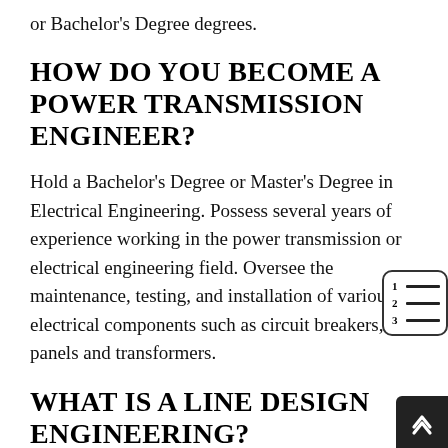or Bachelor's Degree degrees.
HOW DO YOU BECOME A POWER TRANSMISSION ENGINEER?
Hold a Bachelor's Degree or Master's Degree in Electrical Engineering. Possess several years of experience working in the power transmission or electrical engineering field. Oversee the maintenance, testing, and installation of various electrical components such as circuit breakers, panels and transformers.
WHAT IS A LINE DESIGN ENGINEERING?
A transmission line engineer works to draft, design, and analyze the design of lines used for power or